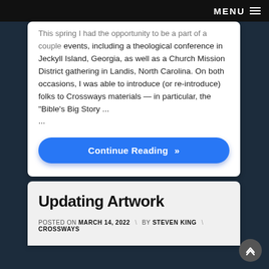MENU
This spring I had the opportunity to be a part of a couple events, including a theological conference in Jeckyll Island, Georgia, as well as a Church Mission District gathering in Landis, North Carolina. On both occasions, I was able to introduce (or re-introduce) folks to Crossways materials — in particular, the "Bible's Big Story ...
Continue Reading »
Updating Artwork
POSTED ON MARCH 14, 2022  \  BY STEVEN KING  \  CROSSWAYS